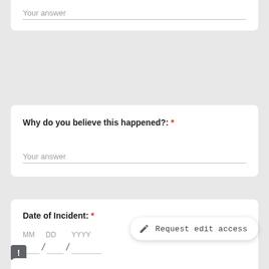Your answer
Why do you believe this happened?: *
Your answer
Date of Incident: *
MM DD YYYY
/ /
Request edit access